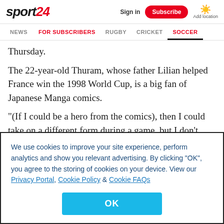sport24 | Sign in | Subscribe | Add location
NEWS | FOR SUBSCRIBERS | RUGBY | CRICKET | SOCCER
Thursday.
The 22-year-old Thuram, whose father Lilian helped France win the 1998 World Cup, is a big fan of Japanese Manga comics.
"(If I could be a hero from the comics), then I could take on a different form during a game, but I don't have the right
We use cookies to improve your site experience, perform analytics and show you relevant advertising. By clicking "OK", you agree to the storing of cookies on your device. View our Privacy Portal, Cookie Policy & Cookie FAQs
OK